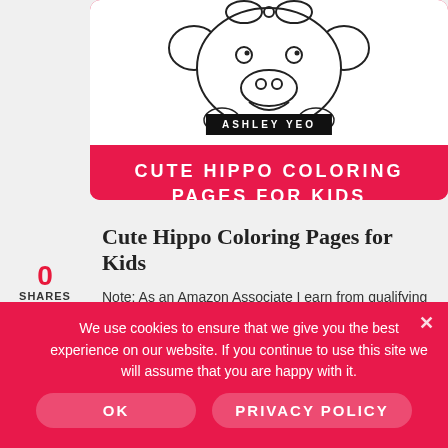[Figure (illustration): Cute cartoon hippo coloring page illustration with bow, smiling face, and small body, in black and white outline style. Author label 'ASHLEY YEO' in black banner. Pink background with white title text 'CUTE HIPPO COLORING PAGES FOR KIDS'.]
Cute Hippo Coloring Pages for Kids
Note: As an Amazon Associate I earn from qualifying purchases. This page may contain
We use cookies to ensure that we give you the best experience on our website. If you continue to use this site we will assume that you are happy with it.
OK
PRIVACY POLICY